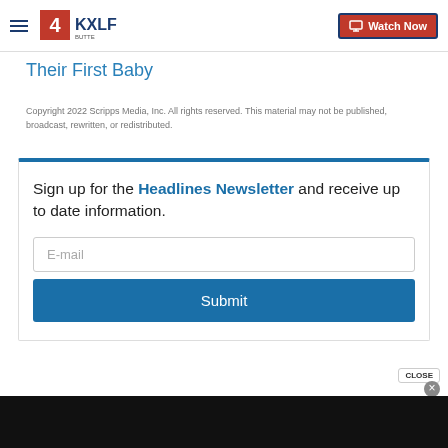4KXLF BUTTE | Watch Now
Their First Baby
Copyright 2022 Scripps Media, Inc. All rights reserved. This material may not be published, broadcast, rewritten, or redistributed.
Sign up for the Headlines Newsletter and receive up to date information.
E-mail
Submit